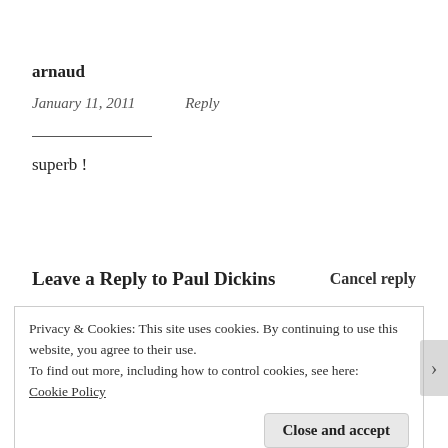arnaud
January 11, 2011    Reply
superb !
Leave a Reply to Paul Dickins    Cancel reply
Privacy & Cookies: This site uses cookies. By continuing to use this website, you agree to their use.
To find out more, including how to control cookies, see here:
Cookie Policy
Close and accept